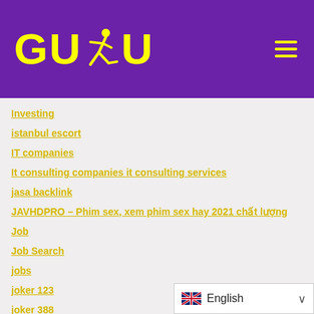[Figure (logo): GUDU logo with yellow text and running figure on purple background]
Investing
istanbul escort
IT companies
It consulting companies it consulting services
jasa backlink
JAVHDPRO – Phim sex, xem phim sex hay 2021 chất lượng
Job
Job Search
jobs
joker 123
joker 388
joker casino apk download
English